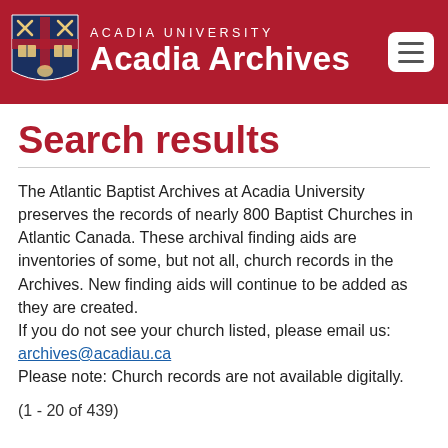ACADIA UNIVERSITY Acadia Archives
Search results
The Atlantic Baptist Archives at Acadia University preserves the records of nearly 800 Baptist Churches in Atlantic Canada. These archival finding aids are inventories of some, but not all, church records in the Archives. New finding aids will continue to be added as they are created.
If you do not see your church listed, please email us: archives@acadiau.ca
Please note: Church records are not available digitally.
(1 - 20 of 439)